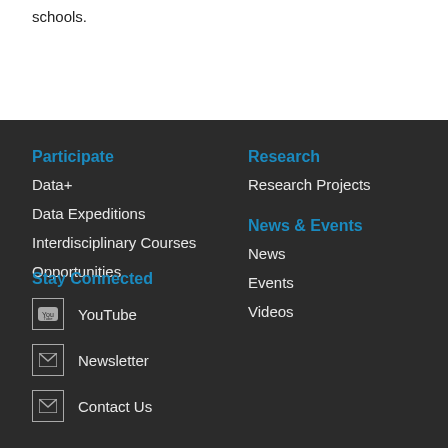schools.
Participate
Data+
Data Expeditions
Interdisciplinary Courses
Opportunities
Research
Research Projects
News & Events
News
Events
Videos
Stay Connected
YouTube
Newsletter
Contact Us